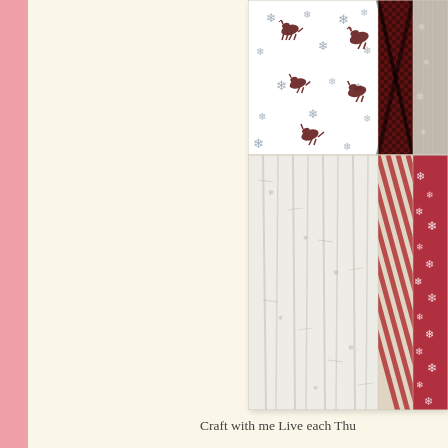[Figure (illustration): A grid of Christmas/holiday fabric/paper patterns showing reindeer and snowflakes on white, dark buffalo check plaid, gray linen texture, white birch tree pattern, red and cream diagonal stripes, and red fabric with white snowflakes.]
Craft with me Live each Thu